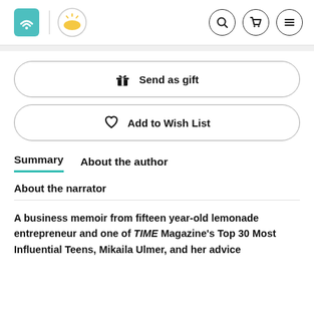[Figure (logo): Audible logo (teal shield with wifi-like waves) and Kindle/Amazon logo (yellow sunrise circle) in header nav]
[Figure (other): Header navigation icons: search (magnifying glass), cart, and hamburger menu, each in a circle]
[Figure (other): Send as gift button with gift box icon]
[Figure (other): Add to Wish List button with heart icon]
Summary | About the author
About the narrator
A business memoir from fifteen year-old lemonade entrepreneur and one of TIME Magazine's Top 30 Most Influential Teens, Mikaila Ulmer, and her advice